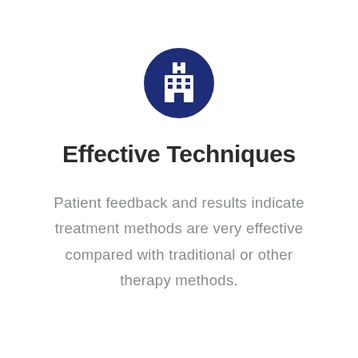[Figure (logo): Dark navy blue circle with a white hospital building icon (H sign on top, grid windows on building facade)]
Effective Techniques
Patient feedback and results indicate treatment methods are very effective compared with traditional or other therapy methods.